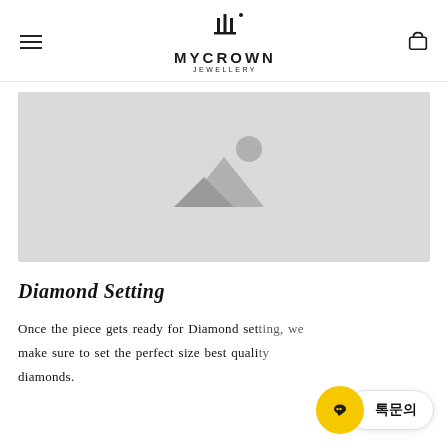MYCROWN JEWELLERY
[Figure (photo): Placeholder image with mountain/landscape icon on grey background]
Diamond Setting
Once the piece gets ready for Diamond setting, we make sure to set the perfect size best quality diamonds.